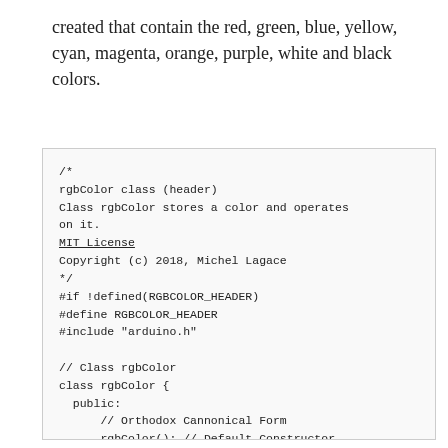created that contain the red, green, blue, yellow, cyan, magenta, orange, purple, white and black colors.
/*
rgbColor class (header)
Class rgbColor stores a color and operates on it.
MIT License
Copyright (c) 2018, Michel Lagace
*/
#if !defined(RGBCOLOR_HEADER)
#define RGBCOLOR_HEADER
#include "arduino.h"

// Class rgbColor
class rgbColor {
  public:
      // Orthodox Cannonical Form
      rgbColor(); // Default Constructor
      ~rgbColor(); // Destructor
      rgbColor(const rgbColor&); // Copy
Constructor